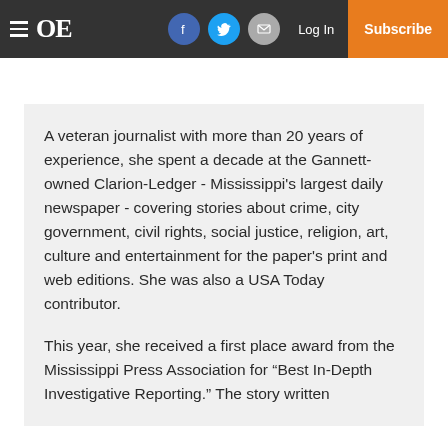≡ OE  [facebook] [twitter] [mail]  Log In  Subscribe
A veteran journalist with more than 20 years of experience, she spent a decade at the Gannett-owned Clarion-Ledger - Mississippi's largest daily newspaper - covering stories about crime, city government, civil rights, social justice, religion, art, culture and entertainment for the paper's print and web editions. She was also a USA Today contributor.
This year, she received a first place award from the Mississippi Press Association for “Best In-Depth Investigative Reporting.” The story written